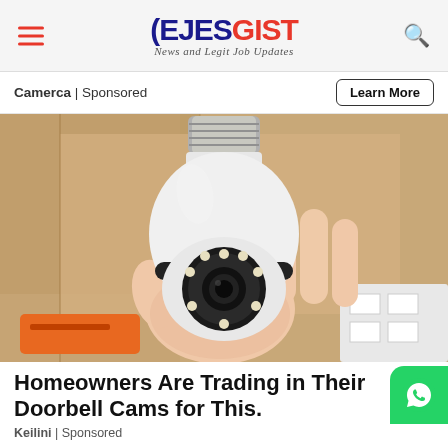EJESGIST - News and Legit Job Updates
Camerca | Sponsored
Learn More
[Figure (photo): A hand holding a white light bulb-shaped security camera with a round lens and LED ring, with a dark band around the middle. Held against a cardboard box background.]
Homeowners Are Trading in Their Doorbell Cams for This.
Keilini | Sponsored